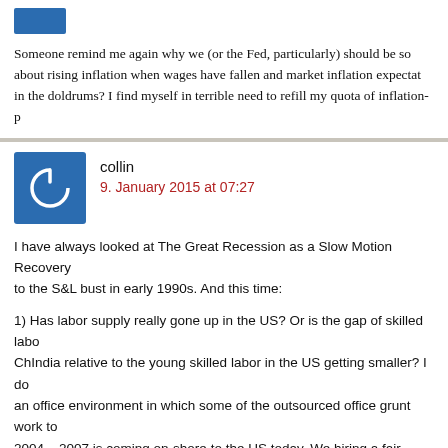[Figure (illustration): Blue avatar icon at top]
Someone remind me again why we (or the Fed, particularly) should be so worried about rising inflation when wages have fallen and market inflation expectations are in the doldrums? I find myself in terrible need to refill my quota of inflation-p
collin
9. January 2015 at 07:27
I have always looked at The Great Recession as a Slow Motion Recovery similar to the S&L bust in early 1990s. And this time:

1) Has labor supply really gone up in the US? Or is the gap of skilled labor in ChIndia relative to the young skilled labor in the US getting smaller? I do work in an office environment in which some of the outsourced office grunt work to 2004 – 2007 is coming on-shore to the US today. We hiring a fair amount of people to take this work away from India. (Also I believe a lot of this is the system of skilled” disappeared and we have to buy more expensive talent which business does not like.)

2) We are not seeing a jump in labor participation (against labor supply) has productivity has had only small gains. This fits the Mandel theory that productivity gains in the early 2000s was just cheaper outsource labor made productivity gains look higher. (Productivity is a fairly basic economic equation

3) If the issue is relative wages to ChIndia versus jumps in labor supply, wo